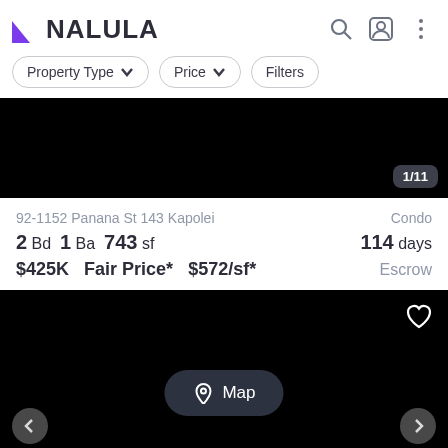NALULA
Property Type  Price  Filters
[Figure (photo): Black placeholder image area with photo counter badge showing 1/11]
92-1152 Panana St 143 Kapolei  Condo  2 Bd 1 Ba 743 sf  114 days  $425K  Fair Price*  $572/sf*  Escrow
[Figure (photo): Black placeholder image area with heart icon, Map button, and navigation arrows]